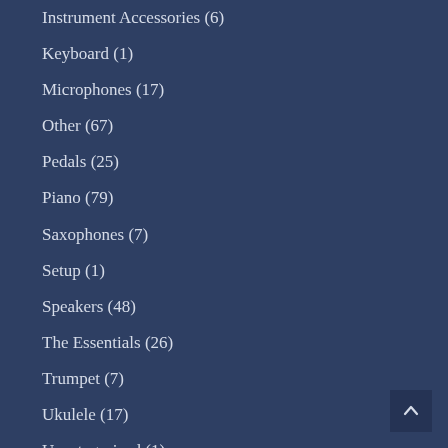Instrument Accessories (6)
Keyboard (1)
Microphones (17)
Other (67)
Pedals (25)
Piano (79)
Saxophones (7)
Setup (1)
Speakers (48)
The Essentials (26)
Trumpet (7)
Ukulele (17)
Uncategorized (1)
Violin (5)